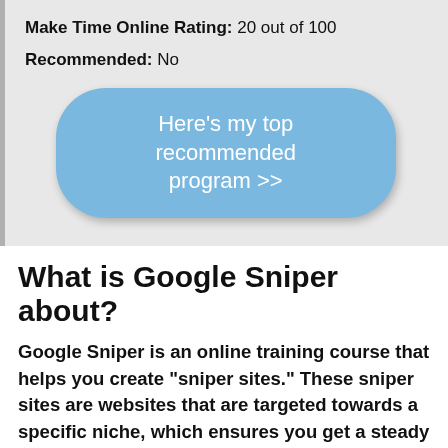Make Time Online Rating: 20 out of 100
Recommended: No
[Figure (other): Blue rounded button with text: Here’s my top recommended program >>]
What is Google Sniper about?
Google Sniper is an online training course that helps you create “sniper sites.” These sniper sites are websites that are targeted towards a specific niche, which ensures you get a steady stream of traffic and in the process, make money.